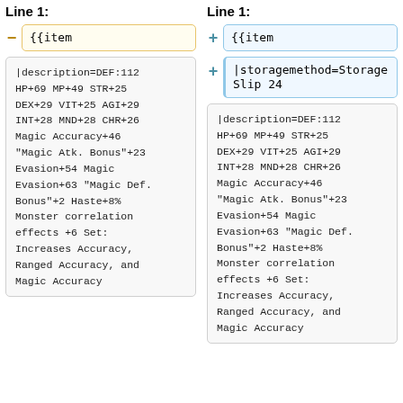Line 1:
- {{item
|description=DEF:112 HP+69 MP+49 STR+25 DEX+29 VIT+25 AGI+29 INT+28 MND+28 CHR+26 Magic Accuracy+46 "Magic Atk. Bonus"+23 Evasion+54 Magic Evasion+63 "Magic Def. Bonus"+2 Haste+8% Monster correlation effects +6 Set: Increases Accuracy, Ranged Accuracy, and Magic Accuracy
Line 1:
+ {{item
+ |storagemethod=Storage Slip 24
|description=DEF:112 HP+69 MP+49 STR+25 DEX+29 VIT+25 AGI+29 INT+28 MND+28 CHR+26 Magic Accuracy+46 "Magic Atk. Bonus"+23 Evasion+54 Magic Evasion+63 "Magic Def. Bonus"+2 Haste+8% Monster correlation effects +6 Set: Increases Accuracy, Ranged Accuracy, and Magic Accuracy